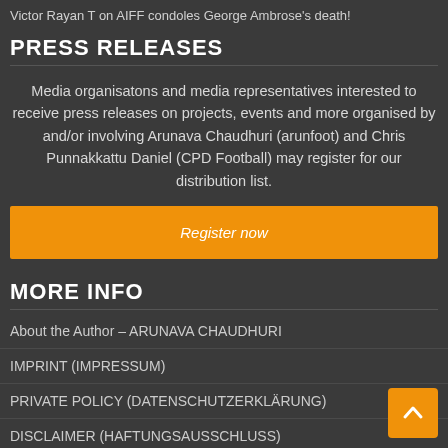Victor Rayan T on AIFF condoles George Ambrose's death!
PRESS RELEASES
Media organisatons and media representatives interested to receive press releases on projects, events and more organised by and/or involving Arunava Chaudhuri (arunfoot) and Chris Punnakkattu Daniel (CPD Football) may register for our distribution list.
Register now
MORE INFO
About the Author – ARUNAVA CHAUDHURI
IMPRINT (IMPRESSUM)
PRIVATE POLICY (DATENSCHUTZERKLÄRUNG)
DISCLAIMER (HAFTUNGSAUSSCHLUSS)
Home – Arunava About Football
arunfoot Consultancy